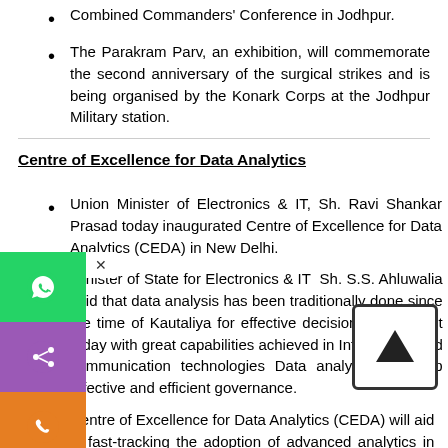Combined Commanders' Conference in Jodhpur.
The Parakram Parv, an exhibition, will commemorate the second anniversary of the surgical strikes and is being organised by the Konark Corps at the Jodhpur Military station.
Centre of Excellence for Data Analytics
Union Minister of Electronics & IT, Sh. Ravi Shankar Prasad today inaugurated Centre of Excellence for Data Analytics (CEDA) in New Delhi.
Minister of State for Electronics & IT  Sh. S.S. Ahluwalia said that data analysis has been traditionally done since the time of Kautaliya for effective decision making, but today with great capabilities achieved in Information and communication technologies Data analysis can help effective and efficient governance.
Centre of Excellence for Data Analytics (CEDA) will aid in fast-tracking the adoption of advanced analytics in government.
CEDA aims to: